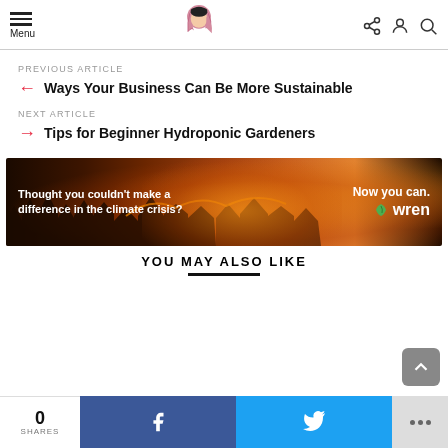Menu | [Logo] | [share] [account] [search]
PREVIOUS ARTICLE
← Ways Your Business Can Be More Sustainable
NEXT ARTICLE
→ Tips for Beginner Hydroponic Gardeners
[Figure (photo): Advertisement banner with wildfire background. Text reads: 'Thought you couldn't make a difference in the climate crisis? Now you can. wren']
YOU MAY ALSO LIKE
0 SHARES | Facebook share | Twitter share | ...